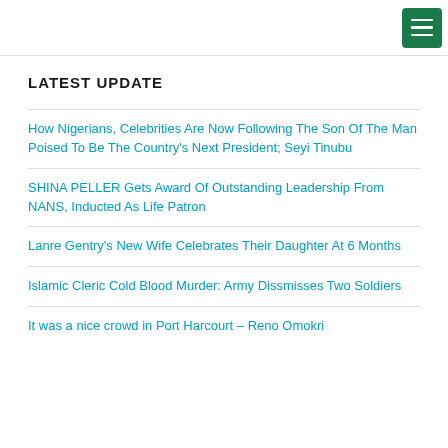[Hamburger menu icon]
LATEST UPDATE
How Nigerians, Celebrities Are Now Following The Son Of The Man Poised To Be The Country's Next President; Seyi Tinubu
SHINA PELLER Gets Award Of Outstanding Leadership From NANS, Inducted As Life Patron
Lanre Gentry's New Wife Celebrates Their Daughter At 6 Months
Islamic Cleric Cold Blood Murder: Army Dissmisses Two Soldiers
It was a nice crowd in Port Harcourt – Reno Omokri